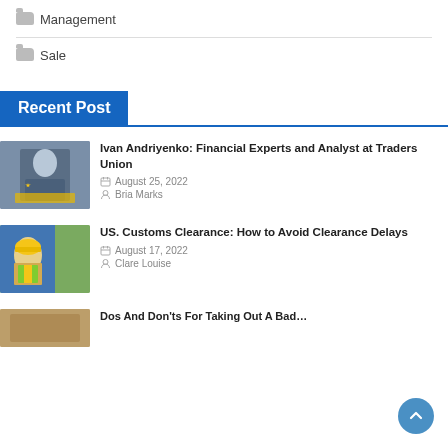Management
Sale
Recent Post
[Figure (photo): Businessman in suit holding tablet with five gold stars rating display]
Ivan Andriyenko: Financial Experts and Analyst at Traders Union
August 25, 2022
Bria Marks
[Figure (photo): Worker in yellow hard hat and safety vest standing in front of blue shipping containers]
US. Customs Clearance: How to Avoid Clearance Delays
August 17, 2022
Clare Louise
[Figure (photo): Partially visible third article thumbnail image]
Dos And Don'ts For Taking Out A Bad...